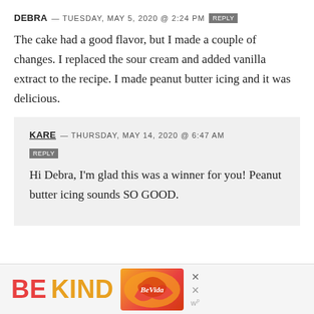DEBRA — TUESDAY, MAY 5, 2020 @ 2:24 PM  REPLY
The cake had a good flavor, but I made a couple of changes. I replaced the sour cream and added vanilla extract to the recipe. I made peanut butter icing and it was delicious.
KARE — THURSDAY, MAY 14, 2020 @ 6:47 AM  REPLY
Hi Debra, I'm glad this was a winner for you! Peanut butter icing sounds SO GOOD.
[Figure (infographic): BE KIND advertisement banner with decorative script image and close button]